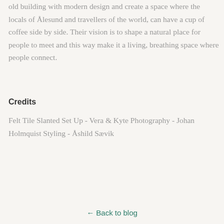old building with modern design and create a space where the locals of Ålesund and travellers of the world, can have a cup of coffee side by side. Their vision is to shape a natural place for people to meet and this way make it a living, breathing space where people connect.
Credits
Felt Tile Slanted Set Up - Vera & Kyte Photography - Johan Holmquist Styling - Åshild Sævik
← Back to blog